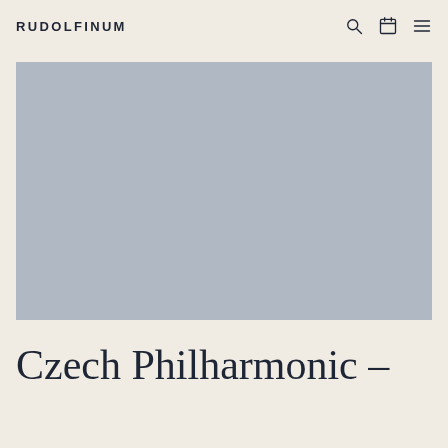RUDOLFINUM
[Figure (photo): Large grey placeholder image, likely a photo of Czech Philharmonic or concert hall]
Czech Philharmonic –